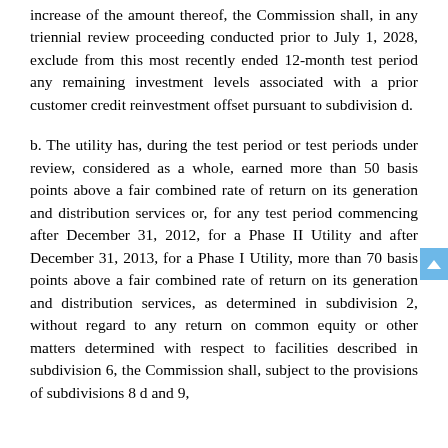increase of the amount thereof, the Commission shall, in any triennial review proceeding conducted prior to July 1, 2028, exclude from this most recently ended 12-month test period any remaining investment levels associated with a prior customer credit reinvestment offset pursuant to subdivision d.
b. The utility has, during the test period or test periods under review, considered as a whole, earned more than 50 basis points above a fair combined rate of return on its generation and distribution services or, for any test period commencing after December 31, 2012, for a Phase II Utility and after December 31, 2013, for a Phase I Utility, more than 70 basis points above a fair combined rate of return on its generation and distribution services, as determined in subdivision 2, without regard to any return on common equity or other matters determined with respect to facilities described in subdivision 6, the Commission shall, subject to the provisions of subdivisions 8 d and 9,